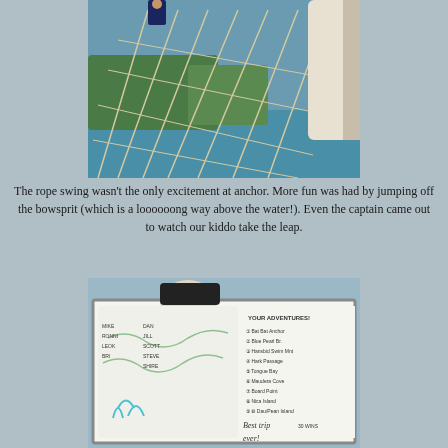[Figure (photo): Photo taken from the bowsprit of a sailing vessel looking down the rope net toward the water, with a tropical coastline and blue water in the background. A person is visible at the top of the frame.]
The rope swing wasn't the only excitement at anchor. More fun was had by jumping off the bowsprit (which is a loooooong way above the water!). Even the captain came out to watch our kiddo take the leap.
[Figure (photo): Photo of a whiteboard showing a hand-drawn map and a list titled 'YOUR ADVENTURES' with numbered destinations, and text at the bottom reading 'Best trip ever!' with '30 wins' noted. A person wearing a black cap is partially visible peeking over the top of the whiteboard.]